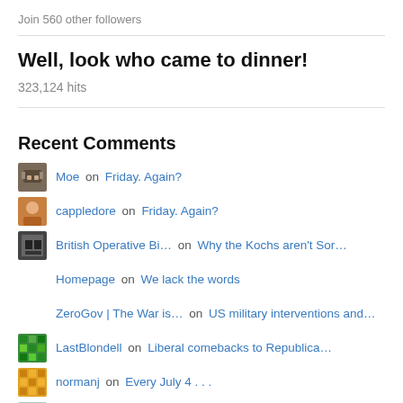Join 560 other followers
Well, look who came to dinner!
323,124 hits
Recent Comments
Moe on Friday. Again?
cappledore on Friday. Again?
British Operative Bi… on Why the Kochs aren't Sor…
Homepage on We lack the words
ZeroGov | The War is… on US military interventions and…
LastBlondell on Liberal comebacks to Republica…
normanj on Every July 4 . . .
StewartRoonl on You knew it and I knew it. And…